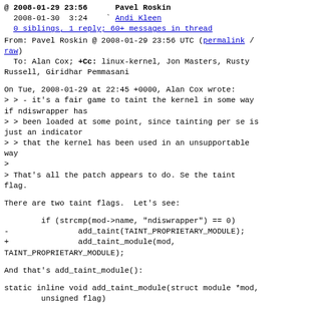@ 2008-01-29 23:56    Pavel Roskin
  2008-01-30  3:24    ` Andi Kleen
  0 siblings, 1 reply; 60+ messages in thread
From: Pavel Roskin @ 2008-01-29 23:56 UTC (permalink / raw)
  To: Alan Cox; +Cc: linux-kernel, Jon Masters, Rusty Russell, Giridhar Pemmasani
On Tue, 2008-01-29 at 22:45 +0000, Alan Cox wrote:
> > - it's a fair game to taint the kernel in some way if ndiswrapper has
> > been loaded at some point, since tainting per se is just an indicator
> > that the kernel has been used in an unsupportable way
>
> That's all the patch appears to do. Se the taint flag.
There are two taint flags.  Let's see:
if (strcmp(mod->name, "ndiswrapper") == 0)
-               add_taint(TAINT_PROPRIETARY_MODULE);
+               add_taint_module(mod, TAINT_PROPRIETARY_MODULE);
And that's add_taint_module():
static inline void add_taint_module(struct module *mod,
        unsigned flag)